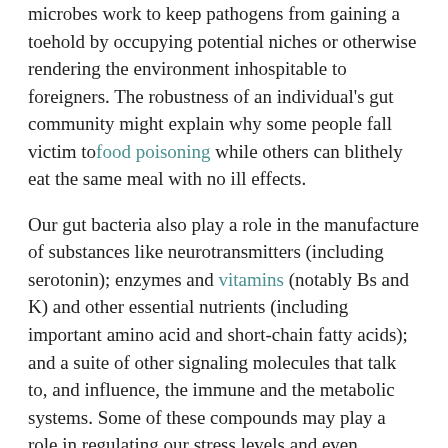microbes work to keep pathogens from gaining a toehold by occupying potential niches or otherwise rendering the environment inhospitable to foreigners. The robustness of an individual's gut community might explain why some people fall victim to food poisoning while others can blithely eat the same meal with no ill effects.
Our gut bacteria also play a role in the manufacture of substances like neurotransmitters (including serotonin); enzymes and vitamins (notably Bs and K) and other essential nutrients (including important amino acid and short-chain fatty acids); and a suite of other signaling molecules that talk to, and influence, the immune and the metabolic systems. Some of these compounds may play a role in regulating our stress levels and even temperament: when gut microbes from easygoing, adventurous mice are transplanted